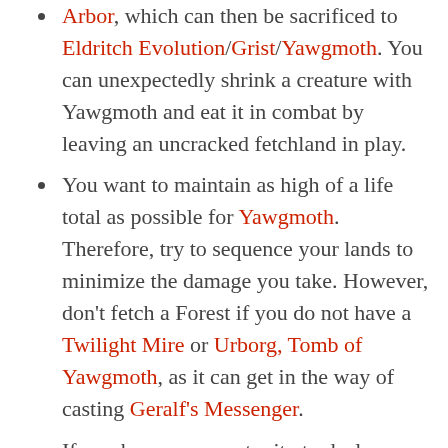Arbor, which can then be sacrificed to Eldritch Evolution/Grist/Yawgmoth. You can unexpectedly shrink a creature with Yawgmoth and eat it in combat by leaving an uncracked fetchland in play.
You want to maintain as high of a life total as possible for Yawgmoth. Therefore, try to sequence your lands to minimize the damage you take. However, don't fetch a Forest if you do not have a Twilight Mire or Urborg, Tomb of Yawgmoth, as it can get in the way of casting Geralf's Messenger.
If you have an opportunity to deal some damage to your opponent, take it. If you are to win via Geralf's Messenger, you need your opponent to be on a lower life total than you.
You can Chord of Calling for zero to find Dryad Arbor. This commonly comes up when